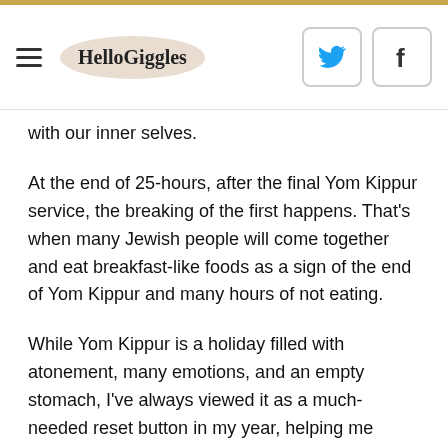HelloGiggles
with our inner selves.
At the end of 25-hours, after the final Yom Kippur service, the breaking of the first happens. That's when many Jewish people will come together and eat breakfast-like foods as a sign of the end of Yom Kippur and many hours of not eating.
While Yom Kippur is a holiday filled with atonement, many emotions, and an empty stomach, I've always viewed it as a much-needed reset button in my year, helping me move forward in a more mindful and compassionate way.